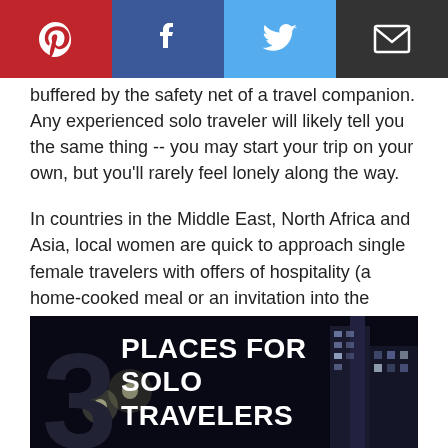[Figure (infographic): Social share bar with Pinterest (red), Facebook (dark blue), Twitter (light blue), and email/mail (dark grey) icons]
buffered by the safety net of a travel companion. Any experienced solo traveler will likely tell you the same thing -- you may start your trip on your own, but you'll rarely feel lonely along the way.
In countries in the Middle East, North Africa and Asia, local women are quick to approach single female travelers with offers of hospitality (a home-cooked meal or an invitation into the home, perhaps), which simply wouldn't be the case if you were traveling with others. The result of such experiences is a far richer travel experience, with the added bonus of boosting your self-confidence and pushing personal boundaries along the way.
[Figure (infographic): Infographic image showing a large '3' and the text 'PLACES FOR SOLO TRAVELERS' on a dark nighttime city background]